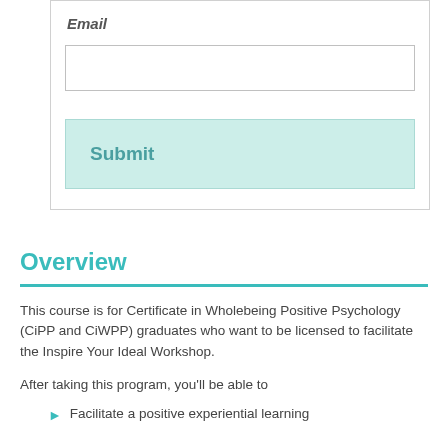Email
[Figure (screenshot): Email input field (empty text box) and Submit button (light teal/cyan background)]
Overview
This course is for Certificate in Wholebeing Positive Psychology (CiPP and CiWPP) graduates who want to be licensed to facilitate the Inspire Your Ideal Workshop.
After taking this program, you'll be able to
Facilitate a positive experiential learning